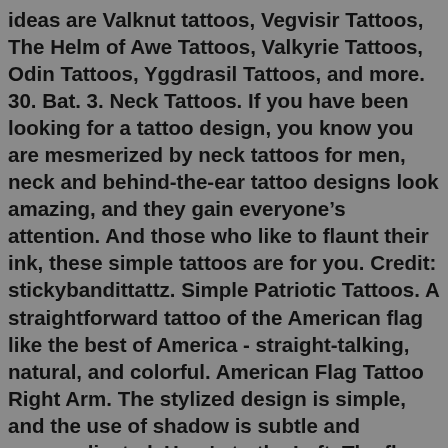ideas are Valknut tattoos, Vegvisir Tattoos, The Helm of Awe Tattoos, Valkyrie Tattoos, Odin Tattoos, Yggdrasil Tattoos, and more. 30. Bat. 3. Neck Tattoos. If you have been looking for a tattoo design, you know you are mesmerized by neck tattoos for men, neck and behind-the-ear tattoo designs look amazing, and they gain everyone's attention. And those who like to flaunt their ink, these simple tattoos are for you. Credit: stickybandittattz. Simple Patriotic Tattoos. A straightforward tattoo of the American flag like the best of America - straight-talking, natural, and colorful. American Flag Tattoo Right Arm. The stylized design is simple, and the use of shadow is subtle and uncomplicated. Here's to the Left. The flag that has been shaped to fit the state of mind, pun intended.A tattoo doesn't always have to be super big which can cover the entire area where it is getting made. nowadays, people like to go for subtle and simple tattoos that don't take much space. Here is a simple yet classy tattoo which has been made on the arm. Here is another reason why males are getting